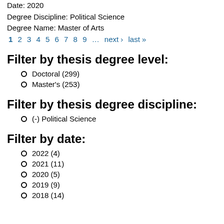Date: 2020
Degree Discipline: Political Science
Degree Name: Master of Arts
1 2 3 4 5 6 7 8 9 … next › last »
Filter by thesis degree level:
Doctoral (299)
Master's (253)
Filter by thesis degree discipline:
(-) Political Science
Filter by date:
2022 (4)
2021 (11)
2020 (5)
2019 (9)
2018 (14)